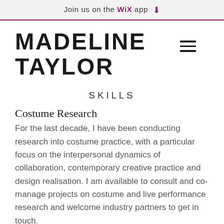Join us on the WiX app
MADELINE TAYLOR
SKILLS
Costume Research
For the last decade, I have been conducting research into costume practice, with a particular focus on the interpersonal dynamics of collaboration, contemporary creative practice and design realisation. I am available to consult and co-manage projects on costume and live performance research and welcome industry partners to get in touch.